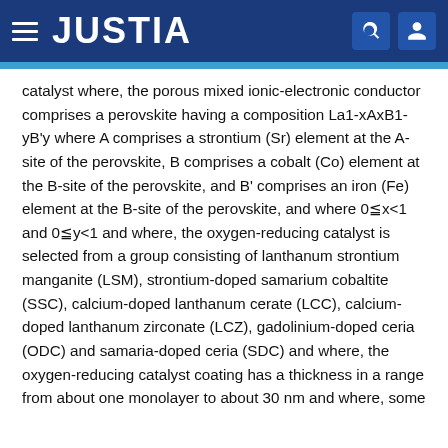JUSTIA
catalyst where, the porous mixed ionic-electronic conductor comprises a perovskite having a composition La1-xAxB1-yB'y where A comprises a strontium (Sr) element at the A-site of the perovskite, B comprises a cobalt (Co) element at the B-site of the perovskite, and B' comprises an iron (Fe) element at the B-site of the perovskite, and where 0≦x<1 and 0≦y<1 and where, the oxygen-reducing catalyst is selected from a group consisting of lanthanum strontium manganite (LSM), strontium-doped samarium cobaltite (SSC), calcium-doped lanthanum cerate (LCC), calcium-doped lanthanum zirconate (LCZ), gadolinium-doped ceria (ODC) and samaria-doped ceria (SDC) and where, the oxygen-reducing catalyst coating has a thickness in a range from about one monolayer to about 30 nm and where, some